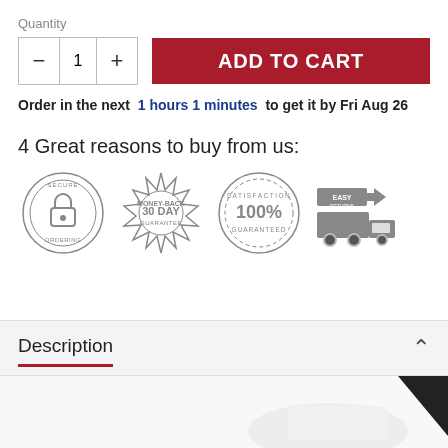Quantity
— 1 + ADD TO CART
Order in the next 1 hours 1 minutes to get it by Fri Aug 26
4 Great reasons to buy from us:
[Figure (infographic): Four trust badges: Secure Ordering (padlock circle), 30 Day Money-Back Guarantee (badge), 100% Satisfaction Guaranteed (stamp circle), Easy Returns (delivery truck icon)]
Description
[Figure (photo): Partial product image (white object) in bottom right corner]